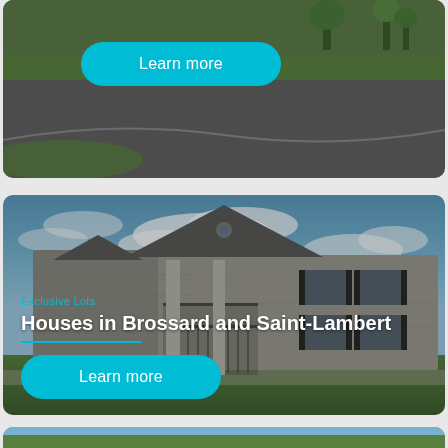[Figure (photo): Aerial or street view photo of a residential area with green grass, trees, and roads. Partially visible at the top of page.]
Learn more
[Figure (photo): Photo of a large multi-story stone residential building with balconies, peaked roofs, set against a blue sky with clouds and green lawn in the foreground.]
Exclusive Lots
Houses in Brossard and Saint-Lambert
Learn more
[Figure (photo): Partial view of another residential property photo at the bottom of the page, only slightly visible.]